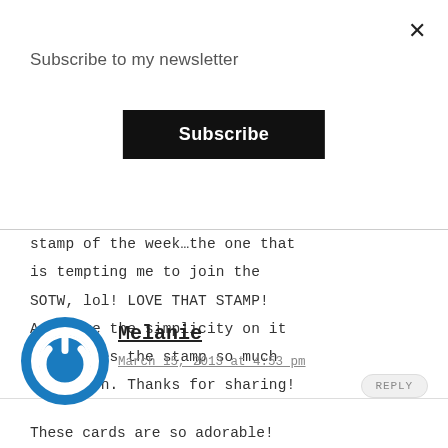Subscribe to my newsletter
[Figure (screenshot): Black Subscribe button]
stamp of the week...the one that is tempting me to join the SOTW, lol! LOVE THAT STAMP! And love the simplicity on it that gives the stamp so much attention. Thanks for sharing!
[Figure (logo): Blue circular power icon avatar for Melanie]
Melanie
March 15, 2013 at 4:53 pm
These cards are so adorable!